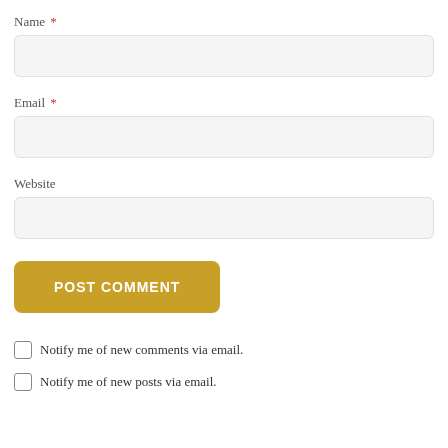Name *
[Figure (screenshot): Empty text input field for Name]
Email *
[Figure (screenshot): Empty text input field for Email]
Website
[Figure (screenshot): Empty text input field for Website]
POST COMMENT
Notify me of new comments via email.
Notify me of new posts via email.